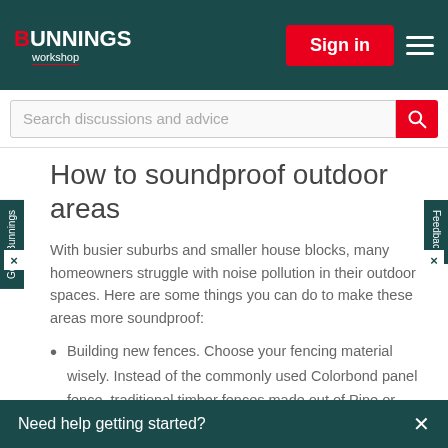BUNNINGS workshop — Sign in
Search discussions and advice
How to soundproof outdoor areas
With busier suburbs and smaller house blocks, many homeowners struggle with noise pollution in their outdoor spaces. Here are some things you can do to make these areas more soundproof:
Building new fences. Choose your fencing material wisely. Instead of the commonly used Colorbond panel fence, traditional timber fences made out of Pine or hardwood are more effective at reducing sound reflection and
Need help getting started?